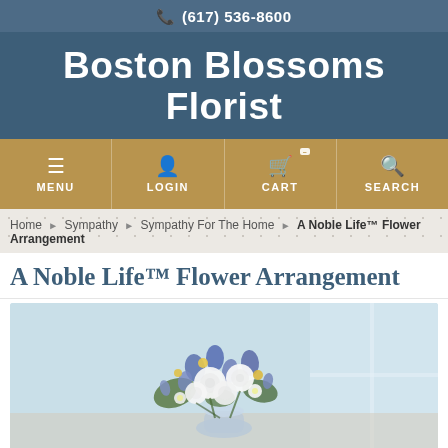(617) 536-8600
Boston Blossoms Florist
MENU LOGIN CART SEARCH
Home ▶ Sympathy ▶ Sympathy For The Home ▶ A Noble Life™ Flower Arrangement
A Noble Life™ Flower Arrangement
[Figure (photo): A Noble Life flower arrangement with white roses, blue delphinium, and yellow flowers in a vase against a light blue background.]